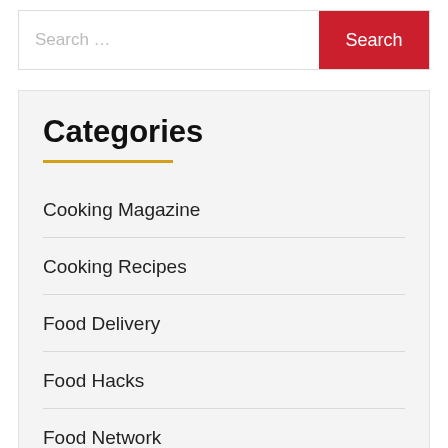Search …
Search
Categories
Cooking Magazine
Cooking Recipes
Food Delivery
Food Hacks
Food Network